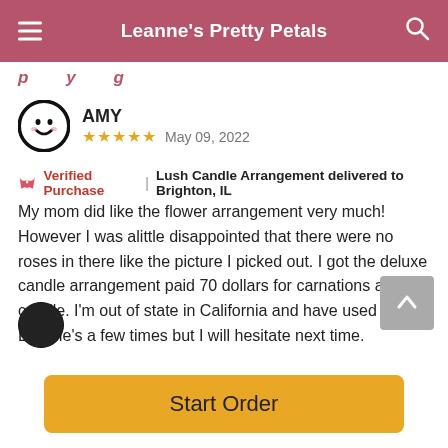Leanne's Pretty Petals
p y g
AMY
★★★★★  May 09, 2022
🌸 Verified Purchase  |  Lush Candle Arrangement delivered to Brighton, IL
My mom did like the flower arrangement very much! However I was alittle disappointed that there were no roses in there like the picture I picked out. I got the deluxe candle arrangement paid 70 dollars for carnations and candle. I'm out of state in California and have used Leanne's a few times but I will hesitate next time.
Start Order